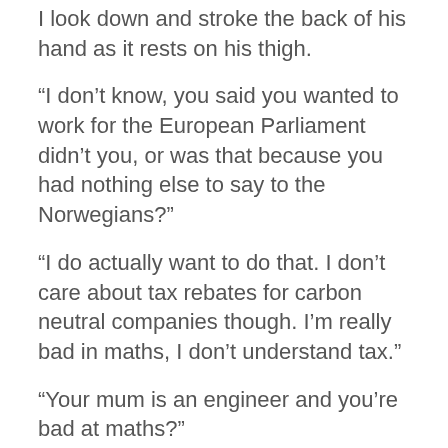I look down and stroke the back of his hand as it rests on his thigh.
“I don’t know, you said you wanted to work for the European Parliament didn’t you, or was that because you had nothing else to say to the Norwegians?”
“I do actually want to do that. I don’t care about tax rebates for carbon neutral companies though. I’m really bad in maths, I don’t understand tax.”
“Your mum is an engineer and you’re bad at maths?”
He groans, “I know, okay.”
“Okay, well if you want to be there then the apartment would be in Strasbourg